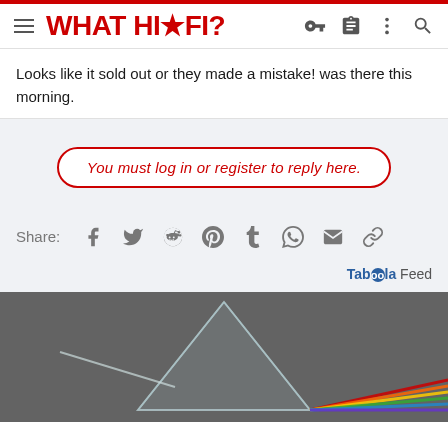WHAT HI·FI?
Looks like it sold out or they made a mistake! was there this morning.
You must log in or register to reply here.
Share:
Taboola Feed
[Figure (photo): Pink Floyd Dark Side of the Moon album cover prism graphic on dark grey background]